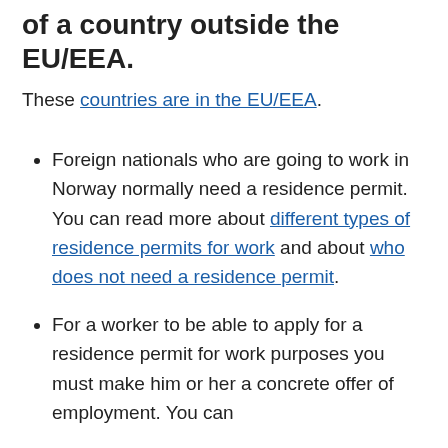of a country outside the EU/EEA.
These countries are in the EU/EEA.
Foreign nationals who are going to work in Norway normally need a residence permit. You can read more about different types of residence permits for work and about who does not need a residence permit.
For a worker to be able to apply for a residence permit for work purposes you must make him or her a concrete offer of employment. You can do this by filling in the UDI...